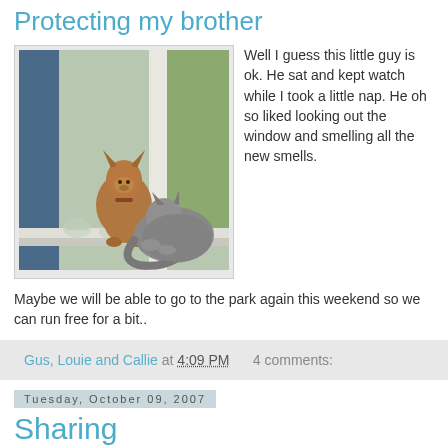Protecting my brother
[Figure (photo): A dog and a cat sitting together on a windowsill, both looking out the window. The dog is brown/tan and the cat is grey. Various glass items are visible on the sill.]
Well I guess this little guy is ok. He sat and kept watch while I took a little nap. He oh so liked looking out the window and smelling all the new smells. Maybe we will be able to go to the park again this weekend so we can run free for a bit..
Gus, Louie and Callie at 4:09 PM    4 comments:
Tuesday, October 09, 2007
Sharing